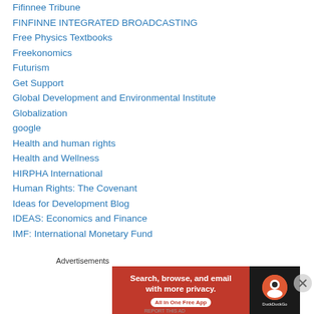Fifinnee Tribune
FINFINNE INTEGRATED BROADCASTING
Free Physics Textbooks
Freekonomics
Futurism
Get Support
Global Development and Environmental Institute
Globalization
google
Health and human rights
Health and Wellness
HIRPHA International
Human Rights: The Covenant
Ideas for Development Blog
IDEAS: Economics and Finance
IMF: International Monetary Fund
Advertisements
[Figure (screenshot): DuckDuckGo advertisement banner: Search, browse, and email with more privacy. All in One Free App]